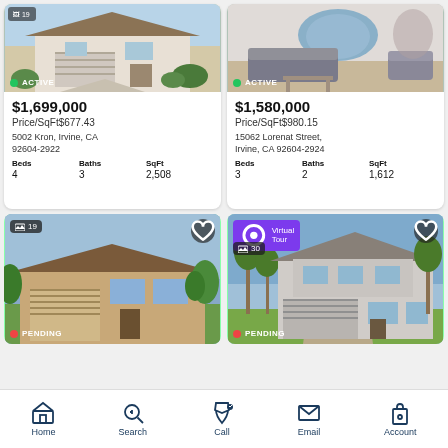[Figure (screenshot): Listing card 1: House exterior with garage, ACTIVE badge, $1,699,000, Price/SqFt$677.43, 5002 Kron, Irvine, CA 92604-2922, Beds 4, Baths 3, SqFt 2,508]
[Figure (screenshot): Listing card 2: Interior living room, ACTIVE badge, $1,580,000, Price/SqFt$980.15, 15062 Lorenat Street, Irvine, CA 92604-2924, Beds 3, Baths 2, SqFt 1,612]
[Figure (photo): Listing photo: Ranch house exterior, 19 images badge, heart button, PENDING badge]
[Figure (photo): Listing photo: Two-story house exterior, Virtual Tour badge, 30 images badge, heart button, PENDING badge]